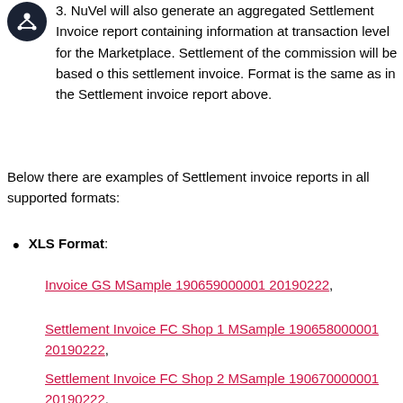3. NuVel will also generate an aggregated Settlement Invoice report containing information at transaction level for the Marketplace. Settlement of the commission will be based on this settlement invoice. Format is the same as in the Settlement invoice report above.
Below there are examples of Settlement invoice reports in all supported formats:
XLS Format:
Invoice GS MSample 190659000001 20190222,
Settlement Invoice FC Shop 1 MSample 190658000001 20190222,
Settlement Invoice FC Shop 2 MSample 190670000001 20190222,